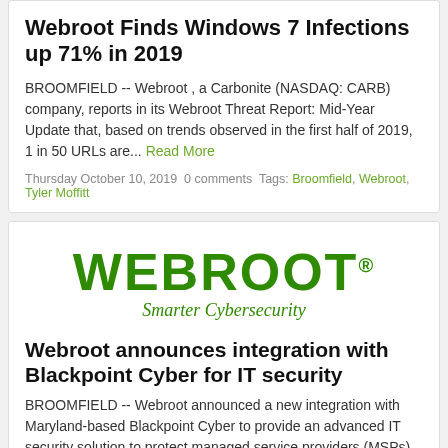Webroot Finds Windows 7 Infections up 71% in 2019
BROOMFIELD -- Webroot , a Carbonite (NASDAQ: CARB) company, reports in its Webroot Threat Report: Mid-Year Update that, based on trends observed in the first half of 2019, 1 in 50 URLs are...
Read More
Thursday October 10, 2019 0 comments Tags: Broomfield, Webroot, Tyler Moffitt
[Figure (logo): Webroot logo with 'WEBROOT' in large bold green text with registered trademark symbol, and 'Smarter Cybersecurity' in italic green text below]
Webroot announces integration with Blackpoint Cyber for IT security
BROOMFIELD -- Webroot announced a new integration with Maryland-based Blackpoint Cyber to provide an advanced IT security solution to protect managed service providers (MSPs)